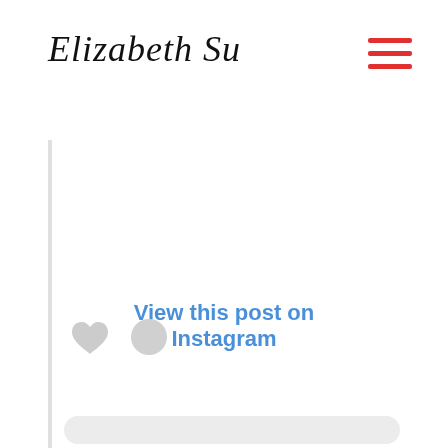Elizabeth Su
View this post on Instagram
[Figure (screenshot): Instagram embed widget showing a post with heart and comment icons and a comment input bar at the bottom]